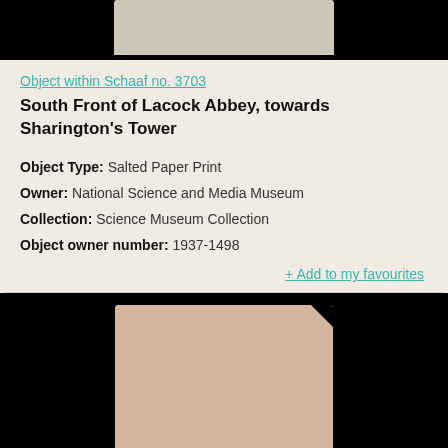[Figure (photo): Top partial image showing a photograph on black background]
Object within Schaaf no. 3703
South Front of Lacock Abbey, towards Sharington's Tower
Object Type: Salted Paper Print
Owner: National Science and Media Museum
Collection: Science Museum Collection
Object owner number: 1937-1498
+ Add to my favourites
[Figure (photo): Bottom partial image showing a pale pink/beige photographic print on black background]